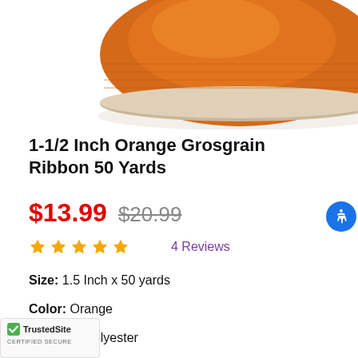[Figure (photo): Orange grosgrain ribbon spool viewed from above on white background, showing the orange ribbon wound on a spool with visible ribbed texture]
1-1/2 Inch Orange Grosgrain Ribbon 50 Yards
$13.99  $20.99
★★★★★  4 Reviews
Size: 1.5 Inch x 50 yards
Color: Orange
Material: Polyester
Rectangular